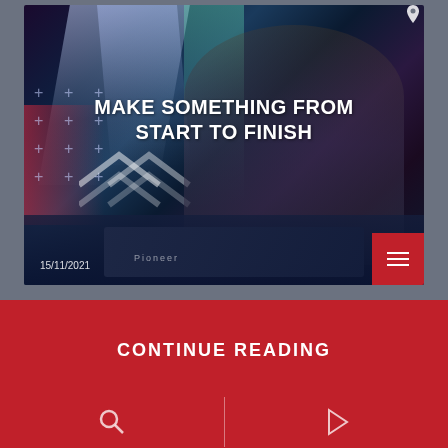[Figure (photo): DJ/musician performing at a stage with colorful lighting, working on mixing equipment, plus cross patterns and light beams visible in background. Photo card with date 15/11/2021 and hamburger menu button.]
MAKE SOMETHING FROM START TO FINISH
15/11/2021
CONTINUE READING